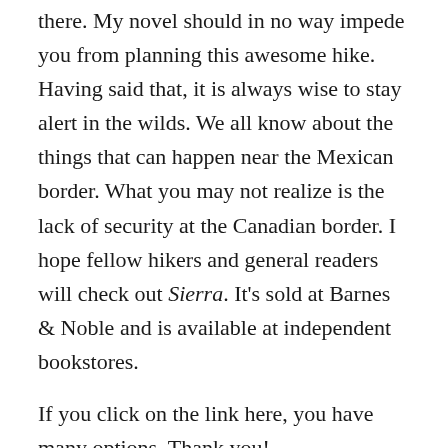there. My novel should in no way impede you from planning this awesome hike. Having said that, it is always wise to stay alert in the wilds. We all know about the things that can happen near the Mexican border. What you may not realize is the lack of security at the Canadian border. I hope fellow hikers and general readers will check out Sierra. It's sold at Barnes & Noble and is available at independent bookstores.
If you click on the link here, you have many options. Thank you!
http://www.turnerpublishing.com/books/detail/sierra